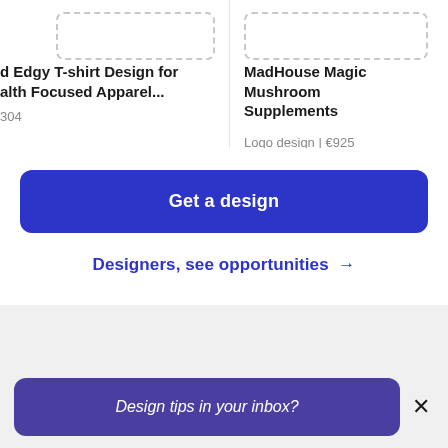d Edgy T-shirt Design foralth Focused Apparel...
304
MadHouse Magic Mushroom Supplements
Logo design | €925
Get a design
Designers, see opportunities →
Design tips in your inbox?